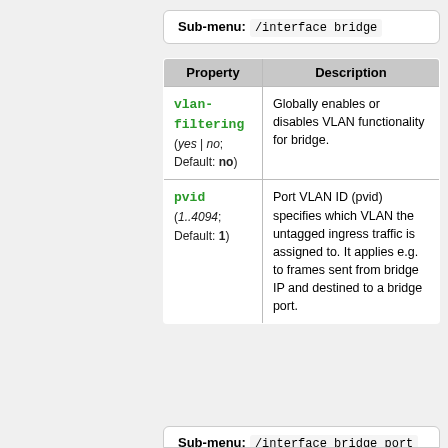Sub-menu: /interface bridge
| Property | Description |
| --- | --- |
| vlan-filtering (yes | no; Default: no) | Globally enables or disables VLAN functionality for bridge. |
| pvid (1..4094; Default: 1) | Port VLAN ID (pvid) specifies which VLAN the untagged ingress traffic is assigned to. It applies e.g. to frames sent from bridge IP and destined to a bridge port. |
Sub-menu: /interface bridge port